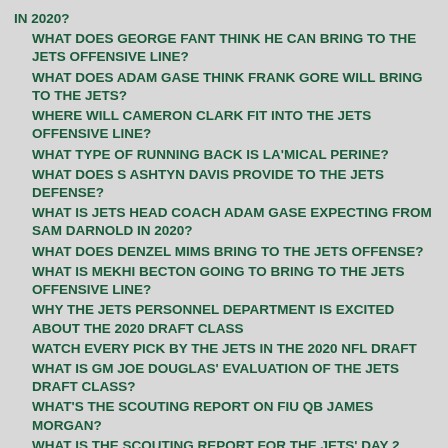IN 2020?
WHAT DOES GEORGE FANT THINK HE CAN BRING TO THE JETS OFFENSIVE LINE?
WHAT DOES ADAM GASE THINK FRANK GORE WILL BRING TO THE JETS?
WHERE WILL CAMERON CLARK FIT INTO THE JETS OFFENSIVE LINE?
WHAT TYPE OF RUNNING BACK IS LA'MICAL PERINE?
WHAT DOES S ASHTYN DAVIS PROVIDE TO THE JETS DEFENSE?
WHAT IS JETS HEAD COACH ADAM GASE EXPECTING FROM SAM DARNOLD IN 2020?
WHAT DOES DENZEL MIMS BRING TO THE JETS OFFENSE?
WHAT IS MEKHI BECTON GOING TO BRING TO THE JETS OFFENSIVE LINE?
WHY THE JETS PERSONNEL DEPARTMENT IS EXCITED ABOUT THE 2020 DRAFT CLASS
WATCH EVERY PICK BY THE JETS IN THE 2020 NFL DRAFT
WHAT IS GM JOE DOUGLAS' EVALUATION OF THE JETS DRAFT CLASS?
WHAT'S THE SCOUTING REPORT ON FIU QB JAMES MORGAN?
WHAT IS THE SCOUTING REPORT FOR THE JETS' DAY 2 SELECTIONS IN THE NFL DRAFT?
WHO DOES NFL NETWORK'S CHARLES DAVIS THINK JETS FANS SHOULD WATCH FOR ON DAY 2 OF THE DRAFT?
WHO DO THE JETS SELECT IN A 7-ROUND MOCK DRAFT?
WHY IS JETS GM JOE DOUGLAS CONFIDENT HEADING INTO THE NFL